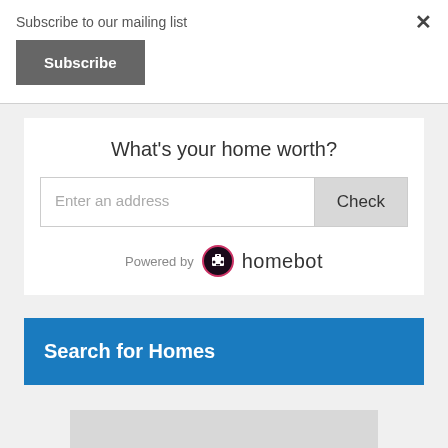Subscribe to our mailing list
×
Subscribe
What's your home worth?
Enter an address
Check
Powered by homebot
Search for Homes